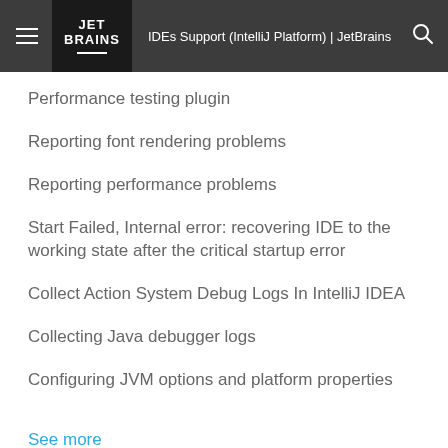IDEs Support (IntelliJ Platform) | JetBrains
Performance testing plugin
Reporting font rendering problems
Reporting performance problems
Start Failed, Internal error: recovering IDE to the working state after the critical startup error
Collect Action System Debug Logs In IntelliJ IDEA
Collecting Java debugger logs
Configuring JVM options and platform properties
See more